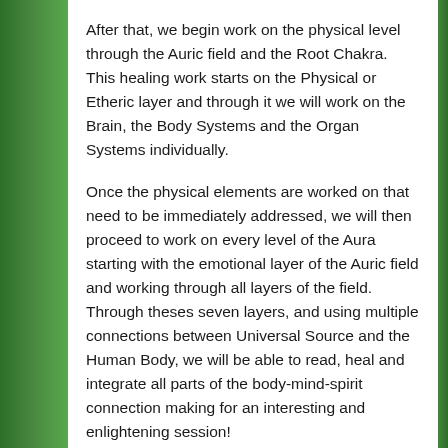After that, we begin work on the physical level through the Auric field and the Root Chakra. This healing work starts on the Physical or Etheric layer and through it we will work on the Brain, the Body Systems and the Organ Systems individually.
Once the physical elements are worked on that need to be immediately addressed, we will then proceed to work on every level of the Aura starting with the emotional layer of the Auric field and working through all layers of the field. Through theses seven layers, and using multiple connections between Universal Source and the Human Body, we will be able to read, heal and integrate all parts of the body-mind-spirit connection making for an interesting and enlightening session!
Working with all these areas and resources of the Outer Realms, there is a kind of sanctuary for your body that it will experience when it's ready, usually after several sessions of Energy work being done. Some people are